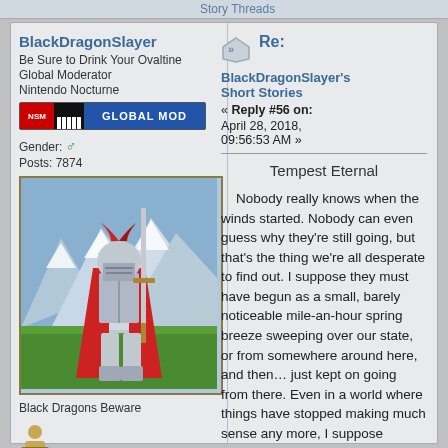Story Threads
BlackDragonSlayer
Be Sure to Drink Your Ovaltine
Global Moderator
Nintendo Nocturne
[Figure (illustration): GLOBAL MOD badge with NSM logo and piano keys]
Gender: ♂
Posts: 7874
[Figure (illustration): Pixel art avatar of an armored knight with red cape holding a sword, standing in front of snowy mountains]
Black Dragons Beware
[Figure (illustration): Small user profile icon]
Re:
BlackDragonSlayer's Short Stories
« Reply #56 on: April 28, 2018, 09:56:53 AM »
Tempest Eternal
Nobody really knows when the winds started. Nobody can even guess why they're still going, but that's the thing we're all desperate to find out. I suppose they must have begun as a small, barely noticeable mile-an-hour spring breeze sweeping over our state, or from somewhere around here, and then… just kept on going from there. Even in a world where things have stopped making much sense any more, I suppose